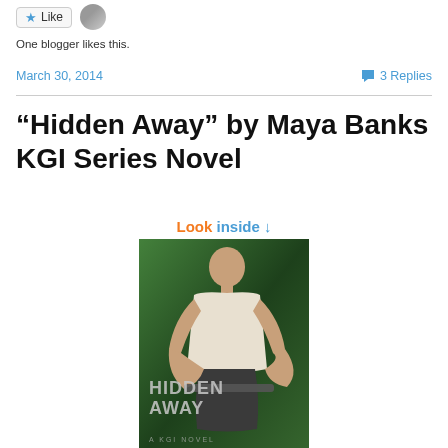[Figure (other): Like button with star icon and user avatar]
One blogger likes this.
March 30, 2014
3 Replies
“Hidden Away” by Maya Banks KGI Series Novel
[Figure (photo): Book cover of Hidden Away by Maya Banks, a KGI Novel. Shows a muscular man in a white t-shirt against a green background, holding a weapon. Title text HIDDEN AWAY and A KGI NOVEL on the cover. Above the cover is a 'Look inside' link in orange and blue.]